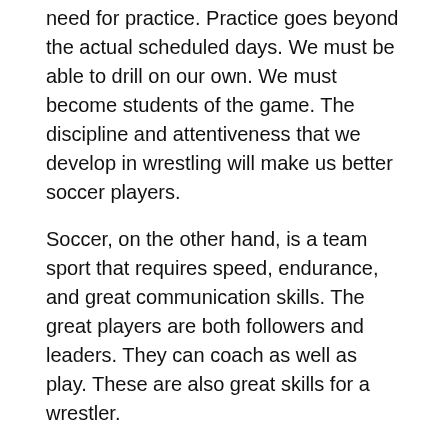need for practice. Practice goes beyond the actual scheduled days. We must be able to drill on our own. We must become students of the game. The discipline and attentiveness that we develop in wrestling will make us better soccer players.
Soccer, on the other hand, is a team sport that requires speed, endurance, and great communication skills. The great players are both followers and leaders. They can coach as well as play. These are also great skills for a wrestler.
As individual as a sport as wrestling is, it is still a team sport. The team is not only hoping for great individual performance, but they are also hoping for the team's overall success. We are only as good as those around us. Our teammates elevate us to greatness, we elevate them.